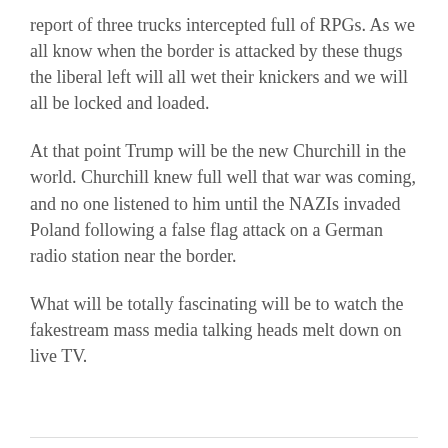report of three trucks intercepted full of RPGs. As we all know when the border is attacked by these thugs the liberal left will all wet their knickers and we will all be locked and loaded.
At that point Trump will be the new Churchill in the world. Churchill knew full well that war was coming, and no one listened to him until the NAZIs invaded Poland following a false flag attack on a German radio station near the border.
What will be totally fascinating will be to watch the fakestream mass media talking heads melt down on live TV.
36.
cyberrifles on January 30, 2017 at 2:54 pm
In one respect he is right. Since we are the biggest drug consuming nation on earth, why should their people die to serve us. But for the most part this is bad because if...